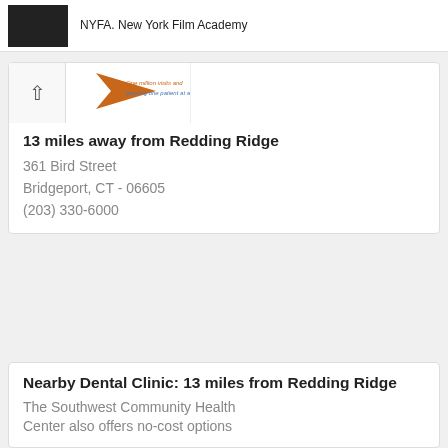NYFA. New York Film Academy
[Figure (logo): Healthcare organization logo with tagline: One million visits and growing one patient at a time.]
13 miles away from Redding Ridge
361 Bird Street
Bridgeport, CT - 06605
(203) 330-6000
Nearby Dental Clinic: 13 miles from Redding Ridge
The Southwest Community Health Center also offers no-cost options